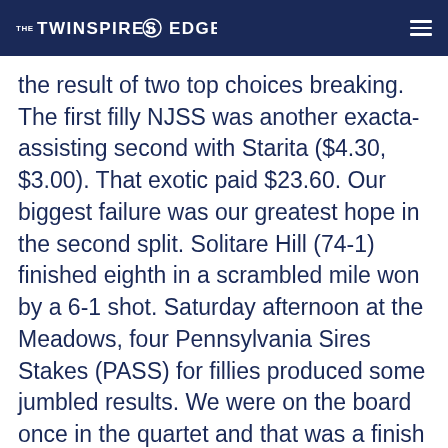THE TWINSPIRES EDGE
the result of two top choices breaking. The first filly NJSS was another exacta-assisting second with Starita ($4.30, $3.00). That exotic paid $23.60. Our biggest failure was our greatest hope in the second split. Solitare Hill (74-1) finished eighth in a scrambled mile won by a 6-1 shot. Saturday afternoon at the Meadows, four Pennsylvania Sires Stakes (PASS) for fillies produced some jumbled results. We were on the board once in the quartet and that was a finish third for Southwind Casha ($2.40), who lost to the public choice. Two of our contenders